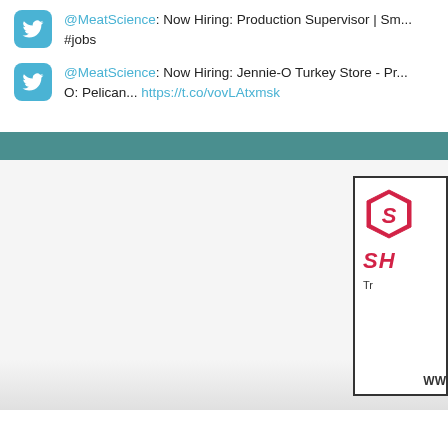@MeatScience: Now Hiring: Production Supervisor | Sm... #jobs
@MeatScience: Now Hiring: Jennie-O Turkey Store - Pr... 0: Pelican... https://t.co/vovLAtxmsk
[Figure (logo): Red shield/hexagon logo with white letter inside, labeled SH in red italic bold text, with tagline starting with T and www text at bottom]